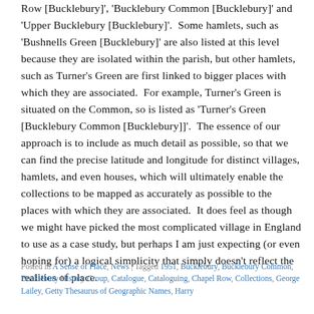Row [Bucklebury]', 'Bucklebury Common [Bucklebury]' and 'Upper Bucklebury [Bucklebury]'.  Some hamlets, such as 'Bushnells Green [Bucklebury]' are also listed at this level because they are isolated within the parish, but other hamlets, such as Turner's Green are first linked to bigger places with which they are associated.  For example, Turner's Green is situated on the Common, so is listed as 'Turner's Green [Bucklebury Common [Bucklebury]]'.  The essence of our approach is to include as much detail as possible, so that we can find the precise latitude and longitude for distinct villages, hamlets, and even houses, which will ultimately enable the collections to be mapped as accurately as possible to the places with which they are associated.  It does feel as though we might have picked the most complicated village in England to use as a case study, but perhaps I am just expecting (or even hoping for) a logical simplicity that simply doesn't reflect the realities of place.
Posted in A Sense of Place, News | Tagged 1951, Bucklebury, Bucklebury Common, Bucklebury History Group, Catalogue, Cataloguing, Chapel Row, Collections, George Lailey, Getty Thesaurus of Geographic Names, Harry